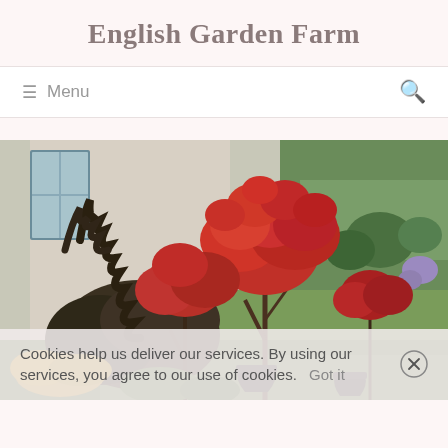English Garden Farm
≡  Menu
[Figure (photo): Outdoor garden scene with Japanese maple trees displaying vivid red autumn foliage, potted plants, and lush green shrubs in the background near a building]
Cookies help us deliver our services. By using our services, you agree to our use of cookies.    Got it